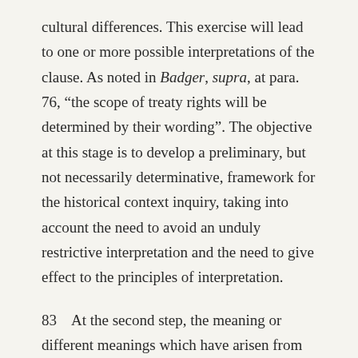cultural differences. This exercise will lead to one or more possible interpretations of the clause. As noted in Badger, supra, at para. 76, "the scope of treaty rights will be determined by their wording". The objective at this stage is to develop a preliminary, but not necessarily determinative, framework for the historical context inquiry, taking into account the need to avoid an unduly restrictive interpretation and the need to give effect to the principles of interpretation.
83    At the second step, the meaning or different meanings which have arisen from the wording of the treaty right must be considered against the treaty's historical and cultural backdrop. A consideration of the historical background may suggest latent ambiguities or alternative interpretations not detected at first reading. Faced with a possible range of interpretations, courts must rely on the historical context to determine which comes closest to reflecting the parties' common intention. This determination requires choosing